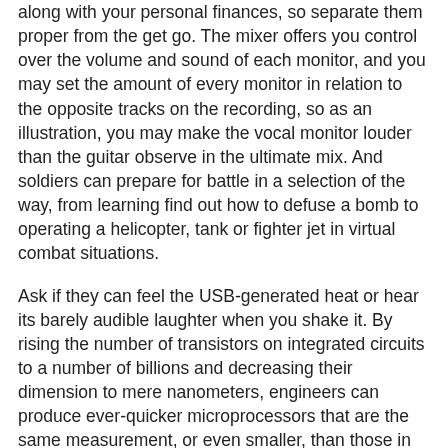along with your personal finances, so separate them proper from the get go. The mixer offers you control over the volume and sound of each monitor, and you may set the amount of every monitor in relation to the opposite tracks on the recording, so as an illustration, you may make the vocal monitor louder than the guitar observe in the ultimate mix. And soldiers can prepare for battle in a selection of the way, from learning find out how to defuse a bomb to operating a helicopter, tank or fighter jet in virtual combat situations.
Ask if they can feel the USB-generated heat or hear its barely audible laughter when you shake it. By rising the number of transistors on integrated circuits to a number of billions and decreasing their dimension to mere nanometers, engineers can produce ever-quicker microprocessors that are the same measurement, or even smaller, than those in today’s computer systems. What’s extra, Macs and PCs can simply run on the same home or company community. After all, its major job is the same as every other antivirus software: scanning your computer to identify and clean up any malware. If the client makes modifications to the info